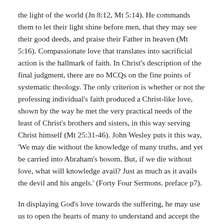the light of the world (Jn 8:12, Mt 5:14). He commands them to let their light shine before men, that they may see their good deeds, and praise their Father in heaven (Mt 5:16). Compassionate love that translates into sacrificial action is the hallmark of faith. In Christ's description of the final judgment, there are no MCQs on the fine points of systematic theology. The only criterion is whether or not the professing individual's faith produced a Christ-like love, shown by the way he met the very practical needs of the least of Christ's brothers and sisters, in this way serving Christ himself (Mt 25:31-46). John Wesley puts it this way, 'We may die without the knowledge of many truths, and yet be carried into Abraham's bosom. But, if we die without love, what will knowledge avail? Just as much as it avails the devil and his angels.' (Forty Four Sermons. preface p7).
In displaying God's love towards the suffering, he may use us to open the hearts of many to understand and accept the Gospel, through the operation of the Holy Spirit. This love is a